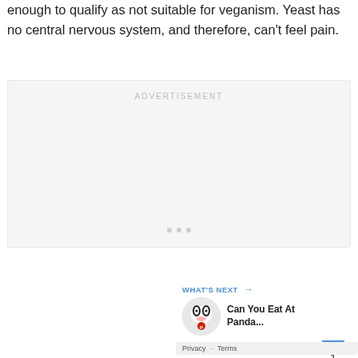enough to qualify as not suitable for veganism. Yeast has no central nervous system, and therefore, can't feel pain.
[Figure (other): Advertisement placeholder box with centered ADVERTISEMENT label and three dots at bottom]
[Figure (other): Social interaction widget with heart like button showing count of 1 and share button]
[Figure (other): What's Next widget showing Can You Eat At Panda... with panda express logo thumbnail]
Privacy · Terms